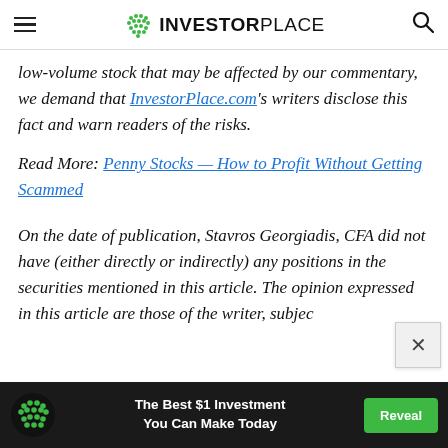INVESTORPLACE
low-volume stock that may be affected by our commentary, we demand that InvestorPlace.com's writers disclose this fact and warn readers of the risks.
Read More: Penny Stocks — How to Profit Without Getting Scammed
On the date of publication, Stavros Georgiadis, CFA did not have (either directly or indirectly) any positions in the securities mentioned in this article. The opinion expressed in this article are those of the writer, subjec
[Figure (infographic): Advertisement banner: green dot logo, 'The Best $1 Investment You Can Make Today', Reveal button]